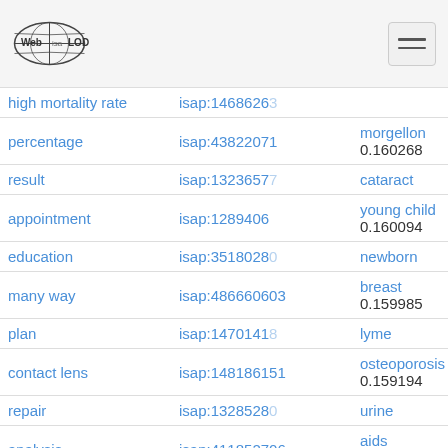Web isa LOD
| term | isap id | related concept / score | isap id 2 |
| --- | --- | --- | --- |
| high mortality rate | isap:14686263 |  |  |
| percentage | isap:43822071 | morgellon
0.160268 | isap:351 |
| result | isap:13236577 | cataract | isap:184 |
| appointment | isap:1289406 | young child
0.160094 | isap:335 |
| education | isap:35180280 | newborn | isap:320 |
| many way | isap:486660603 | breast
0.159985 | isap:422 |
| plan | isap:14701418 | lyme | isap:288 |
| contact lens | isap:148186151 | osteoporosis
0.159194 | isap:112 |
| repair | isap:13285280 | urine | isap:336 |
| analysis | isap:411852706 | aids
0.158815 | isap:288 |
| ment | isap:14809048 | angina | isap:425 |